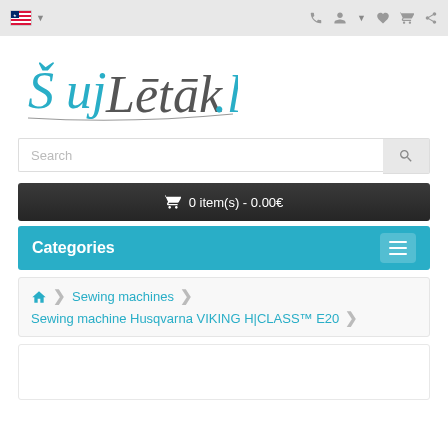SejLetak.lv - navigation bar with flag, phone, account, wishlist, cart, share icons
[Figure (logo): SejLetak.lv logo in cursive script with teal and dark gray colors]
Search
0 item(s) - 0.00€
Categories
Sewing machines > Sewing machine Husqvarna VIKING H|CLASS™ E20